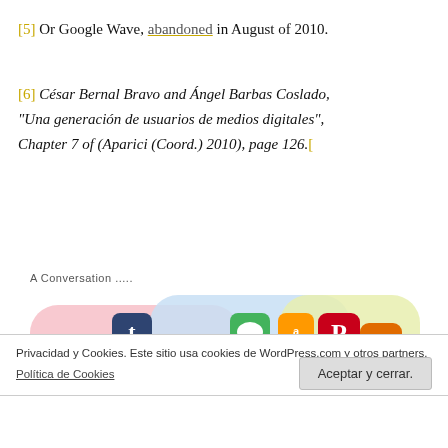[5] Or Google Wave, abandoned in August of 2010.
[6] César Bernal Bravo and Ángel Barbas Coslado, "Una generación de usuarios de medios digitales", Chapter 7 of (Aparici (Coord.) 2010), page 126.[
A Conversation .....
[Figure (illustration): Collage of social media app icons (YouTube, Tumblr, WordPress, Facebook, Twitter, Vimeo, Spotify, Flickr, LinkedIn, Google+, App Store, Safari, Yahoo, Amazon, Blogger, iCloud, etc.) arranged on overlapping pink, blue, and yellow rounded-rectangle cards.]
Privacidad y Cookies. Este sitio usa cookies de WordPress.com y otros partners. Política de Cookies
Aceptar y cerrar.